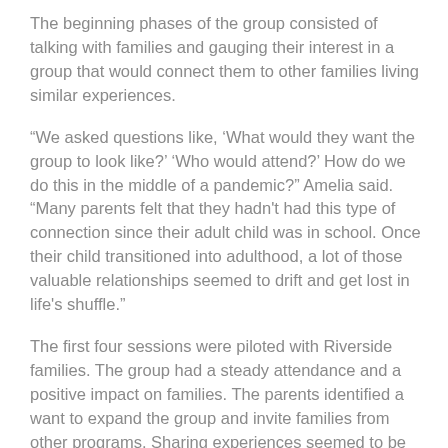The beginning phases of the group consisted of talking with families and gauging their interest in a group that would connect them to other families living similar experiences.
“We asked questions like, ‘What would they want the group to look like?’ ‘Who would attend?’ How do we do this in the middle of a pandemic?” Amelia said. “Many parents felt that they hadn't had this type of connection since their adult child was in school. Once their child transitioned into adulthood, a lot of those valuable relationships seemed to drift and get lost in life's shuffle.”
The first four sessions were piloted with Riverside families. The group had a steady attendance and a positive impact on families. The parents identified a want to expand the group and invite families from other programs. Sharing experiences seemed to be extremely valuable and with